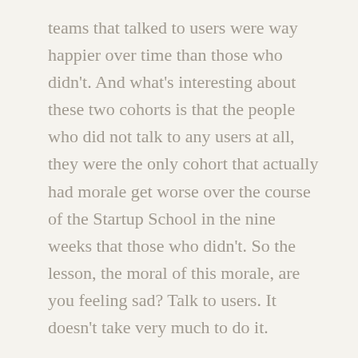teams that talked to users were way happier over time than those who didn't. And what's interesting about these two cohorts is that the people who did not talk to any users at all, they were the only cohort that actually had morale get worse over the course of the Startup School in the nine weeks that those who didn't. So the lesson, the moral of this morale, are you feeling sad? Talk to users. It doesn't take very much to do it.
Kevin Hale [40:41] – The median number of users that Startup School teams talk to which is three users a week, it actually provides a ton of insight for you but apparently it's better than Prozac. If